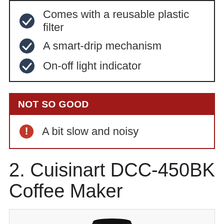Comes with a reusable plastic filter
A smart-drip mechanism
On-off light indicator
NOT SO GOOD
A bit slow and noisy
2. Cuisinart DCC-450BK Coffee Maker
[Figure (photo): Photo of a black Cuisinart coffee maker]